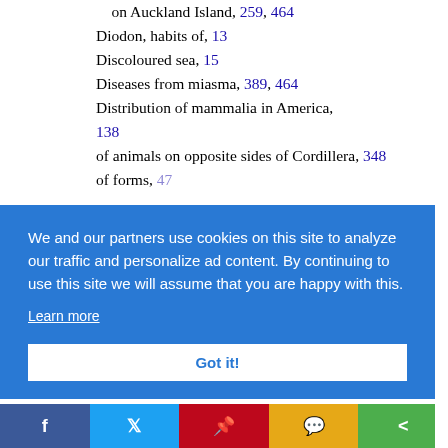on Auckland Island, 259, 464
Diodon, habits of, 13
Discoloured sea, 15
Diseases from miasma, 389, 464
Distribution of mammalia in America, 138
of animals on opposite sides of Cordillera, 348
of forms, [partially obscured]
We and our partners use cookies on this site to analyze our traffic and personalize ad content. By continuing to use this site we will assume that you are happy with this. Learn more
Got it!